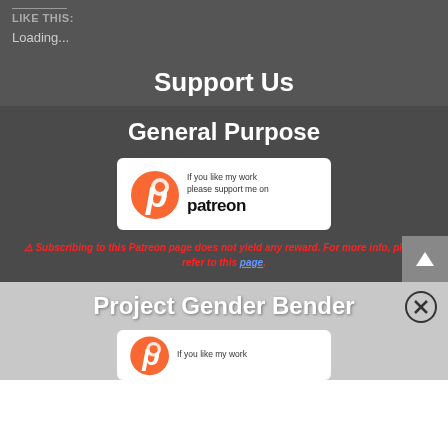LIKE THIS:
Loading...
Support Us
General Purpose
[Figure (logo): Patreon badge: orange Patreon logo with text 'If you like my work please support me on patreon']
⚠ Subscribing to this Patreon page does not yield any reward. For more info, please refer to this page.
Project Gender Bender
[Figure (logo): Partial Patreon badge at bottom, showing orange logo and text 'If you like my work']